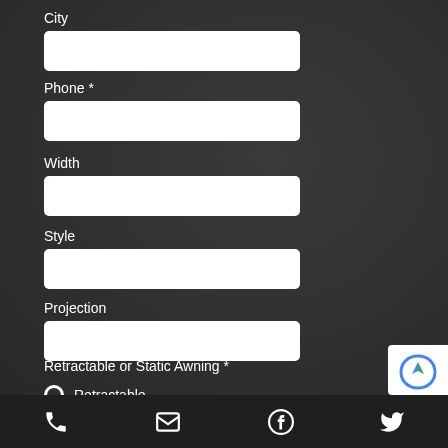City
Phone *
Width
Style
Projection
Retractable or Static Awning *
Retractable
Static